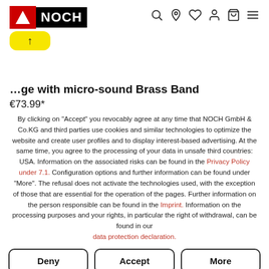NOCH Original — navigation header with logo and icons
…ge with micro-sound Brass Band
€73.99*
By clicking on "Accept" you revocably agree at any time that NOCH GmbH & Co.KG and third parties use cookies and similar technologies to optimize the website and create user profiles and to display interest-based advertising. At the same time, you agree to the processing of your data in unsafe third countries: USA. Information on the associated risks can be found in the Privacy Policy under 7.1. Configuration options and further information can be found under "More". The refusal does not activate the technologies used, with the exception of those that are essential for the operation of the pages. Further information on the person responsible can be found in the Imprint. Information on the processing purposes and your rights, in particular the right of withdrawal, can be found in our data protection declaration.
Deny
Accept
More